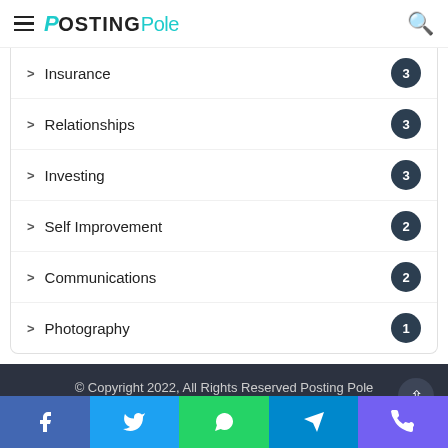PostingPole
Insurance 3
Relationships 3
Investing 3
Self Improvement 2
Communications 2
Photography 1
© Copyright 2022, All Rights Reserved Posting Pole
About Us  Contact Us  Privacy Policy